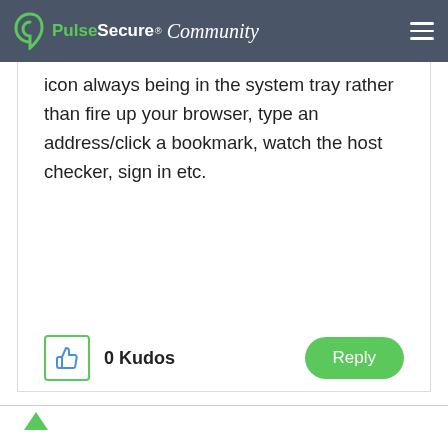Pulse Secure Community
icon always being in the system tray rather than fire up your browser, type an address/click a bookmark, watch the host checker, sign in etc.
0 Kudos
Reply